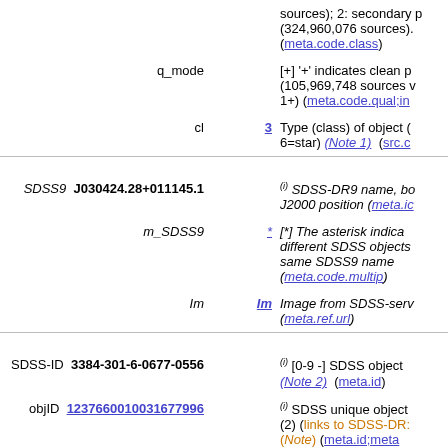| Label | Value | Description |
| --- | --- | --- |
|  |  | sources); 2: secondary p (324,960,076 sources). (meta.code.class) |
| q_mode |  | [+] '+' indicates clean p (105,969,748 sources v 1+) (meta.code.qual;in |
| cl | 3 | Type (class) of object ( 6=star) (Note 1)  (src.c |
| SDSS9 | J030424.28+011145.1 | (i) SDSS-DR9 name, bo J2000 position (meta.ic |
| m_SDSS9 | * | [*] The asterisk indica different SDSS objects same SDSS9 name (meta.code.multip) |
| Im | Im | Image from SDSS-serv (meta.ref.url) |
| SDSS-ID | 3384-301-6-0677-0556 | (i) [0-9 -] SDSS object (Note 2)  (meta.id) |
| objID | 1237660010031677996 | (i) SDSS unique object (2) (links to SDSS-DR: (Note)  (meta.id;meta |